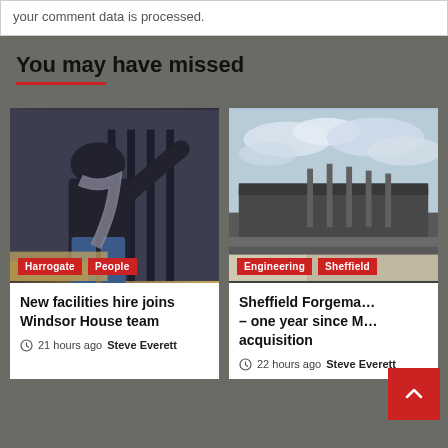your comment data is processed.
You may have missed
[Figure (photo): Person wearing dark sweater, scarf, and jeans standing near ornate black metal railing with stone steps]
Harrogate  People
New facilities hire joins Windsor House team
21 hours ago  Steve Everett
[Figure (photo): Architectural rendering of a modern industrial or commercial building with cloudy sky background]
Engineering  Sheffield
Sheffield Forgema… – one year since M… acquisition
22 hours ago  Steve Everett